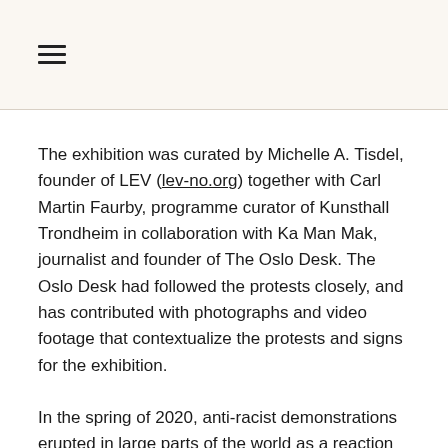≡
The exhibition was curated by Michelle A. Tisdel, founder of LEV (lev-no.org) together with Carl Martin Faurby, programme curator of Kunsthall Trondheim in collaboration with Ka Man Mak, journalist and founder of The Oslo Desk. The Oslo Desk had followed the protests closely, and has contributed with photographs and video footage that contextualize the protests and signs for the exhibition.
In the spring of 2020, anti-racist demonstrations erupted in large parts of the world as a reaction to the killing of George Floyd, an African-American man, by police officers in Minneapolis, MN. What followed